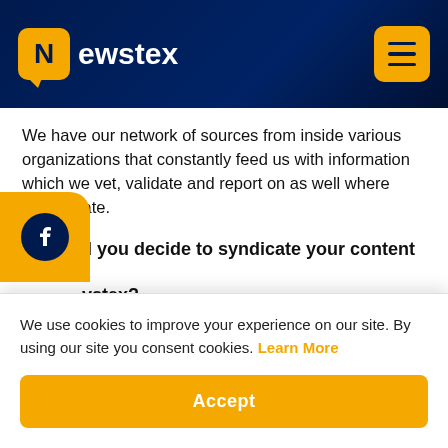[Figure (logo): Newstex logo with yellow speech bubble icon and white text on dark navy header, plus yellow hamburger menu button]
We have our network of sources from inside various organizations that constantly feed us with information which we vet, validate and report on as well where appropriate.
Why did you decide to syndicate your content with Newstex?
We use cookies to improve your experience on our site. By using our site you consent cookies. Learn More
a global can help and related enture the basics neutral and